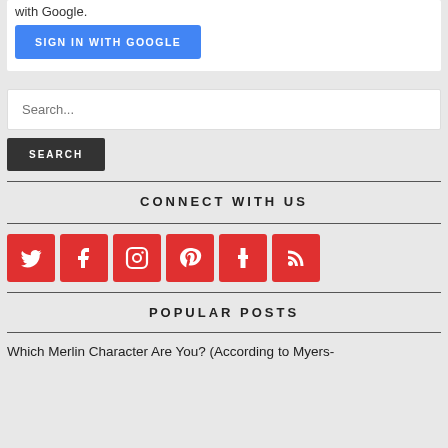with Google.
SIGN IN WITH GOOGLE
Search...
SEARCH
CONNECT WITH US
[Figure (other): Row of 6 red social media icon buttons: Twitter, Facebook, Instagram, Pinterest, Tumblr, RSS]
POPULAR POSTS
Which Merlin Character Are You? (According to Myers-Briggs Type Indicator)